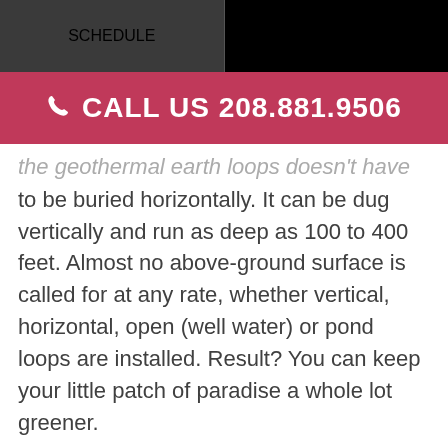SCHEDULE   COUPONS
CALL US 208.881.9506
the geothermal earth loops doesn't have to be buried horizontally. It can be dug vertically and run as deep as 100 to 400 feet. Almost no above-ground surface is called for at any rate, whether vertical, horizontal, open (well water) or pond loops are installed. Result? You can keep your little patch of paradise a whole lot greener.
Geothermal HVAC systems are remarkably quiet. Every element of a geothermal system is designed and